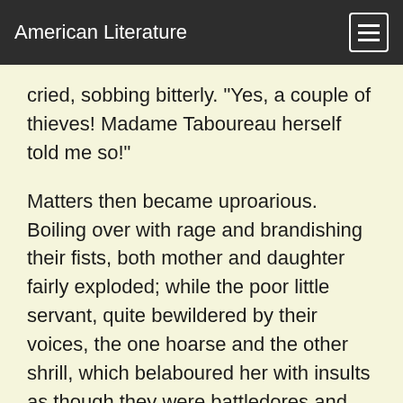American Literature
cried, sobbing bitterly. "Yes, a couple of thieves! Madame Taboureau herself told me so!"
Matters then became uproarious. Boiling over with rage and brandishing their fists, both mother and daughter fairly exploded; while the poor little servant, quite bewildered by their voices, the one hoarse and the other shrill, which belaboured her with insults as though they were battledores and she a shuttlecock, sobbed on more bitterly than ever.
"Be off with you! Your Madame Taboureau would like to be half as fresh as that fish is! She'd like us to